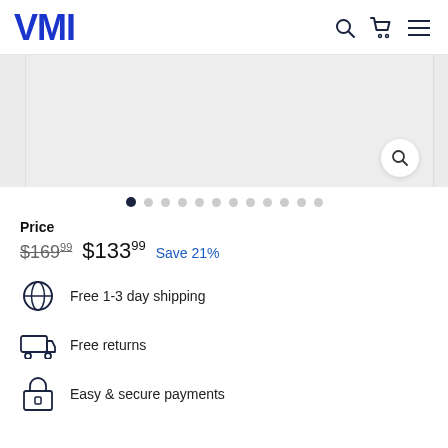VMI
[Figure (screenshot): Product image carousel with magnify button and navigation dots. Main area shows a light gray placeholder image. Navigation dots below show 12 dots with first dot active.]
Price
$169.22  $133.99  Save 21%
Free 1-3 day shipping
Free returns
Easy & secure payments